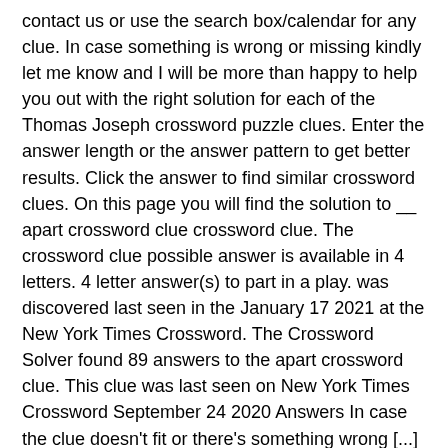contact us or use the search box/calendar for any clue. In case something is wrong or missing kindly let me know and I will be more than happy to help you out with the right solution for each of the Thomas Joseph crossword puzzle clues. Enter the answer length or the answer pattern to get better results. Click the answer to find similar crossword clues. On this page you will find the solution to __ apart crossword clue crossword clue. The crossword clue possible answer is available in 4 letters. 4 letter answer(s) to part in a play. was discovered last seen in the January 17 2021 at the New York Times Crossword. The Crossword Solver found 89 answers to the apart crossword clue. This clue was last seen on New York Times Crossword September 24 2020 Answers In case the clue doesn't fit or there's something wrong [...] Some of these cookies will send your data to our advertising partners. (Enter a dot for each missing letters, e.g. Thanks for visiting our NY Times Crossword Answers page. Part is a crossword puzzle clue that we have spotted over 20 times. Handprint part is a crossword clue for which we have 1 possible answer in our database.